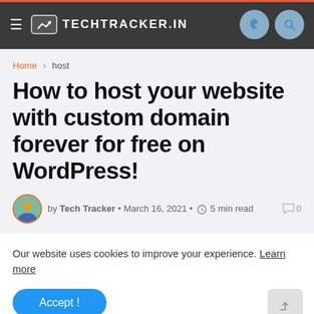TechTracker.in
Home > host
How to host your website with custom domain forever for free on WordPress!
by Tech Tracker • March 16, 2021 • 5 min read  0
Our website uses cookies to improve your experience. Learn more
Accept !